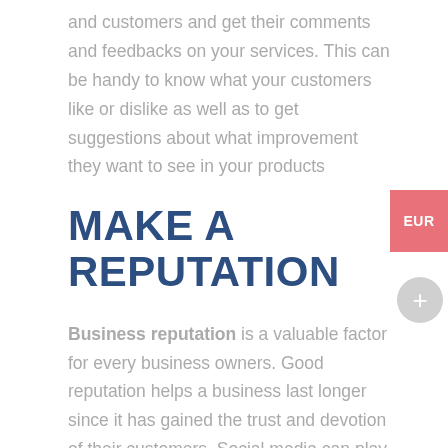and customers and get their comments and feedbacks on your services. This can be handy to know what your customers like or dislike as well as to get suggestions about what improvement they want to see in your products
MAKE A REPUTATION
Business reputation is a valuable factor for every business owners. Good reputation helps a business last longer since it has gained the trust and devotion of their customers. Social media can play an important role in building your business's